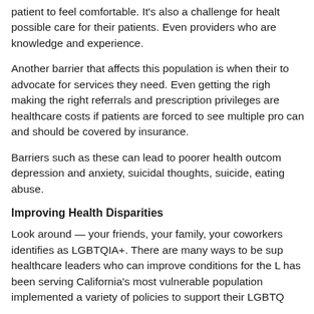patient to feel comfortable. It's also a challenge for health providers to provide the best possible care for their patients. Even providers who are well-intentioned may lack knowledge and experience.
Another barrier that affects this population is when their primary care provider is unable to advocate for services they need. Even getting the right diagnosis is important, as making the right referrals and prescription privileges are necessary. This can also increase healthcare costs if patients are forced to see multiple providers for services that can and should be covered by insurance.
Barriers such as these can lead to poorer health outcomes including increased rates of depression and anxiety, suicidal thoughts, suicide, eating disorders, and substance abuse.
Improving Health Disparities
Look around — your friends, your family, your coworkers. Chances are someone you know identifies as LGBTQIA+. There are many ways to be supportive, including being healthcare leaders who can improve conditions for the LGBTQIA+ community. UCLA has been serving California's most vulnerable populations for over 60 years and has implemented a variety of policies to support their LGBTQ